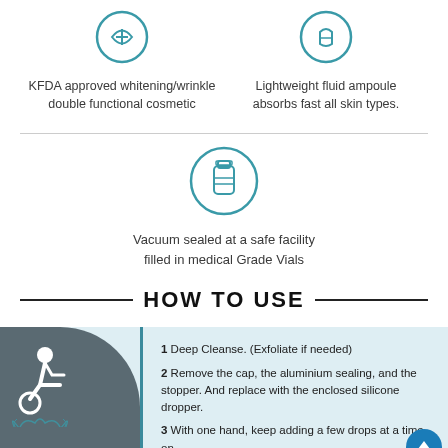KFDA approved whitening/wrinkle double functional cosmetic
Lightweight fluid ampoule absorbs fast all skin types.
[Figure (illustration): Teal circle icon with a vial/bottle inside]
Vacuum sealed at a safe facility filled in medical Grade Vials
HOW TO USE
[Figure (illustration): Gray semicircle with wheelchair accessibility icon and teal crown/laurel illustration]
1 Deep Cleanse. (Exfoliate if needed)
2 Remove the cap, the aluminium sealing, and the stopper. And replace with the enclosed silicone dropper.
3 With one hand, keep adding a few drops at a time on